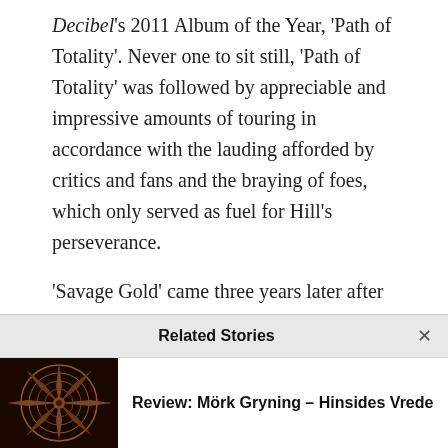Decibel's 2011 Album of the Year, 'Path of Totality'. Never one to sit still, 'Path of Totality' was followed by appreciable and impressive amounts of touring in accordance with the lauding afforded by critics and fans and the braying of foes, which only served as fuel for Hill's perseverance.
'Savage Gold' came three years later after which a restless Hill began nudging TOMBS' black metal base into territories populated by gothic and death rock artists like FIELDS OF THE NEPHILIM and SISTERS OF MERCY as well as avant-garde
Related Stories
Review: Mörk Gryning – Hinsides Vrede